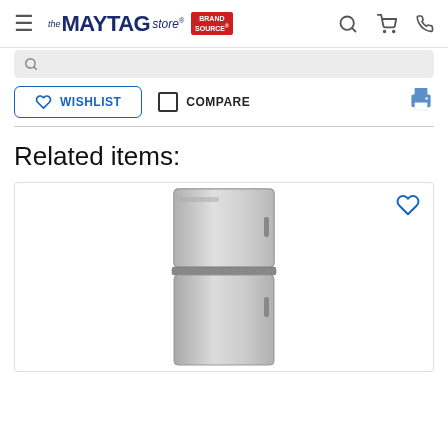the MAYTAG store BRAND SOURCE
[Figure (screenshot): Search bar with magnifying glass icon on gray background]
WISHLIST COMPARE (print icon)
Related items:
[Figure (photo): Stainless steel top-freezer refrigerator product image with wishlist heart icon in top right corner]